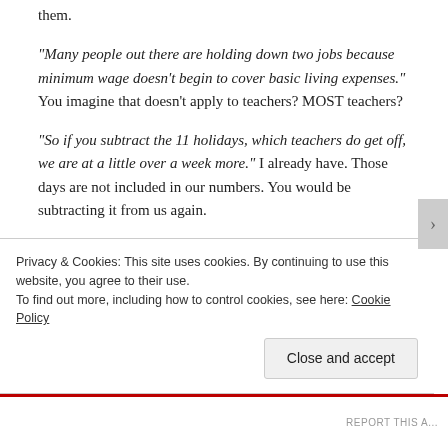them.
“Many people out there are holding down two jobs because minimum wage doesn’t begin to cover basic living expenses.” You imagine that doesn’t apply to teachers? MOST teachers?
“So if you subtract the 11 holidays, which teachers do get off, we are at a little over a week more.” I already have. Those days are not included in our numbers. You would be subtracting it from us again.
“But then, I have to all myself where does your number 53
Privacy & Cookies: This site uses cookies. By continuing to use this website, you agree to their use.
To find out more, including how to control cookies, see here: Cookie Policy